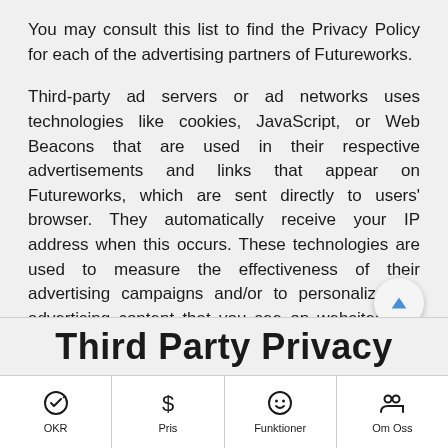You may consult this list to find the Privacy Policy for each of the advertising partners of Futureworks.
Third-party ad servers or ad networks uses technologies like cookies, JavaScript, or Web Beacons that are used in their respective advertisements and links that appear on Futureworks, which are sent directly to users' browser. They automatically receive your IP address when this occurs. These technologies are used to measure the effectiveness of their advertising campaigns and/or to personalize the advertising content that you see on websites that you visit.
Note that Futureworks has no access to or control over these cookies that are used by third-party advertisers.
Third Party Privacy
OKR | Pris | Funktioner | Om Oss